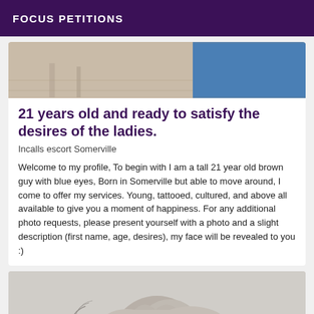FOCUS PETITIONS
[Figure (photo): Partial photo showing legs/feet on tiled floor on left, blue fabric on right]
21 years old and ready to satisfy the desires of the ladies.
Incalls escort Somerville
Welcome to my profile, To begin with I am a tall 21 year old brown guy with blue eyes, Born in Somerville but able to move around, I come to offer my services. Young, tattooed, cultured, and above all available to give you a moment of happiness. For any additional photo requests, please present yourself with a photo and a slight description (first name, age, desires), my face will be revealed to you :)
[Figure (photo): Partial photo of a person with long hair seen from behind, with plants/branches in foreground]